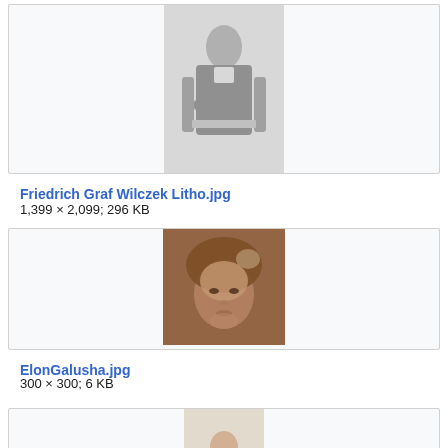[Figure (photo): Black and white lithograph portrait of a man seated in a chair, wearing a dark jacket]
Friedrich Graf Wilczek Litho.jpg
1,399 × 2,099; 296 KB
[Figure (photo): Close-up painted portrait of a young person with brown curly hair, painterly style with warm brown tones]
ElonGalusha.jpg
300 × 300; 6 KB
[Figure (photo): Partially visible image at bottom of page, cropped]